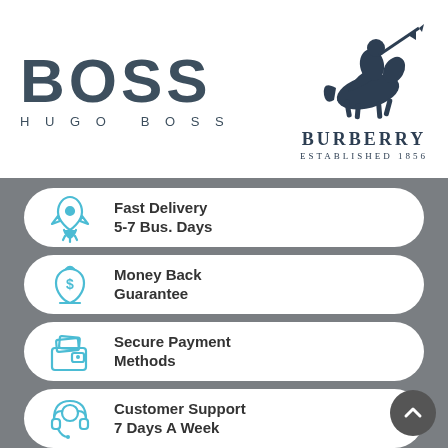[Figure (logo): Hugo Boss logo — BOSS in large bold dark blue-grey letters with HUGO BOSS lettered below]
[Figure (logo): Burberry logo — equestrian knight graphic above BURBERRY ESTABLISHED 1856 in dark navy]
Fast Delivery
5-7 Bus. Days
Money Back
Guarantee
Secure Payment
Methods
Customer Support
7 Days A Week